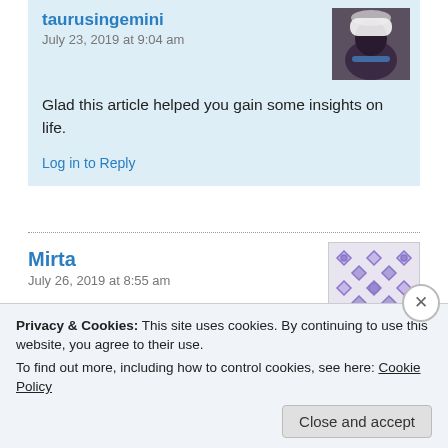taurusingemini
July 23, 2019 at 9:04 am
Glad this article helped you gain some insights on life.
Log in to Reply
[Figure (photo): Avatar image of a dark-colored animal wearing a hat]
Mirta
July 26, 2019 at 8:55 am
[Figure (illustration): Purple geometric pattern avatar with diamond/floral shapes]
Pretty nice post. I just stumbled upon your blog and wanted to say
Privacy & Cookies: This site uses cookies. By continuing to use this website, you agree to their use.
To find out more, including how to control cookies, see here: Cookie Policy
Close and accept